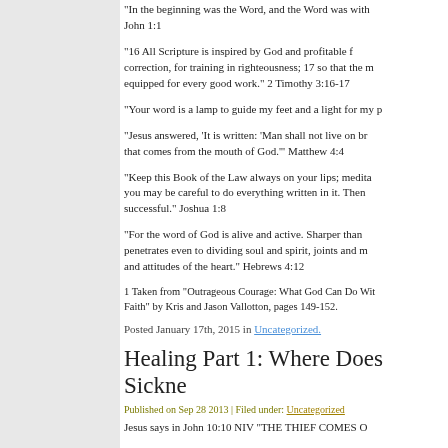“In the beginning was the Word, and the Word was with… John 1:1
“16 All Scripture is inspired by God and profitable for… correction, for training in righteousness; 17 so that the m… equipped for every good work.” 2 Timothy 3:16-17
“Your word is a lamp to guide my feet and a light for my p…
“Jesus answered, ‘It is written: ‘Man shall not live on br… that comes from the mouth of God.’” Matthew 4:4
“Keep this Book of the Law always on your lips; medita… you may be careful to do everything written in it. Then… successful.” Joshua 1:8
“For the word of God is alive and active. Sharper than… penetrates even to dividing soul and spirit, joints and m… and attitudes of the heart.” Hebrews 4:12
1 Taken from “Outrageous Courage: What God Can Do Wit… Faith” by Kris and Jason Vallotton, pages 149-152.
Posted January 17th, 2015 in Uncategorized.
Healing Part 1: Where Does Sickne…
Published on Sep 28 2013 | Filed under: Uncategorized
Jesus says in John 10:10 NIV “THE THIEF COMES O…